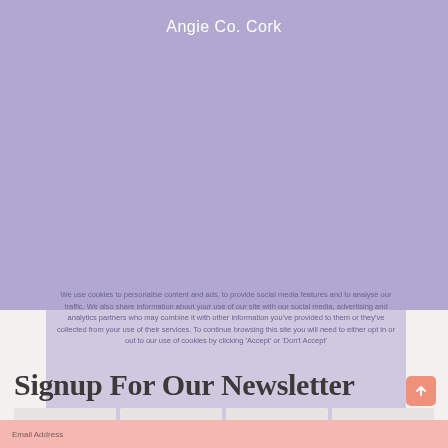Angie Co. Cork
We use cookies to personalise content and ads, to provide social media features and to analyse our traffic. We also share information about your use of our site with our social media, advertising and analytics partners who may combine it with other information you've provided to them or they've collected from your use of their services. To continue browsing this site you will need to either opt in or out to our use of cookies by clicking 'Accept' or 'Don't Accept'
Signup For Our Newsletter